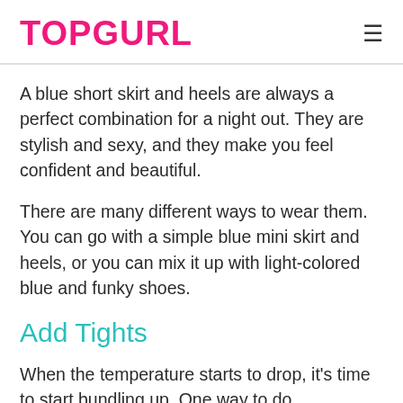TOPGURL
A blue short skirt and heels are always a perfect combination for a night out. They are stylish and sexy, and they make you feel confident and beautiful.
There are many different ways to wear them. You can go with a simple blue mini skirt and heels, or you can mix it up with light-colored blue and funky shoes.
Add Tights
When the temperature starts to drop, it's time to start bundling up. One way to do